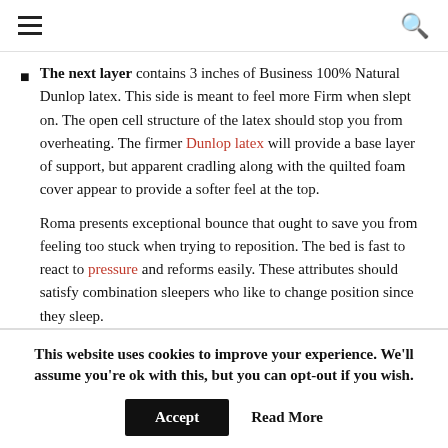≡  🔍
The next layer contains 3 inches of Business 100% Natural Dunlop latex. This side is meant to feel more Firm when slept on. The open cell structure of the latex should stop you from overheating. The firmer Dunlop latex will provide a base layer of support, but apparent cradling along with the quilted foam cover appear to provide a softer feel at the top.
Roma presents exceptional bounce that ought to save you from feeling too stuck when trying to reposition. The bed is fast to react to pressure and reforms easily. These attributes should satisfy combination sleepers who like to change position since they sleep.
This website uses cookies to improve your experience. We'll assume you're ok with this, but you can opt-out if you wish.
Accept  Read More